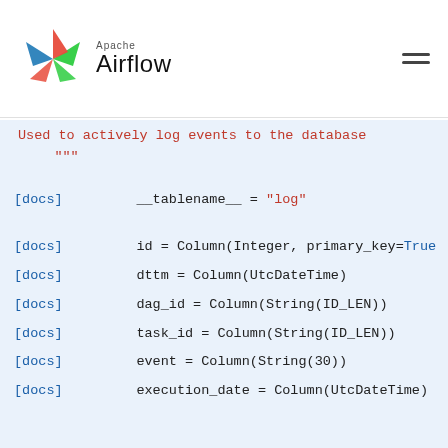Apache Airflow
Used to actively log events to the database
    """
[docs]    __tablename__ = "log"
[docs]    id = Column(Integer, primary_key=True
[docs]    dttm = Column(UtcDateTime)
[docs]    dag_id = Column(String(ID_LEN))
[docs]    task_id = Column(String(ID_LEN))
[docs]    event = Column(String(30))
[docs]    execution_date = Column(UtcDateTime)